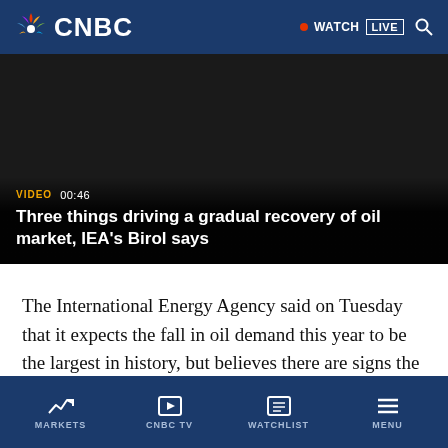CNBC
[Figure (screenshot): Video thumbnail with dark background showing text: VIDEO 00:46 — Three things driving a gradual recovery of oil market, IEA's Birol says]
The International Energy Agency said on Tuesday that it expects the fall in oil demand this year to be the largest in history, but believes there are signs the market could reach "a more stable footing" over the coming months.
MARKETS  CNBC TV  WATCHLIST  MENU